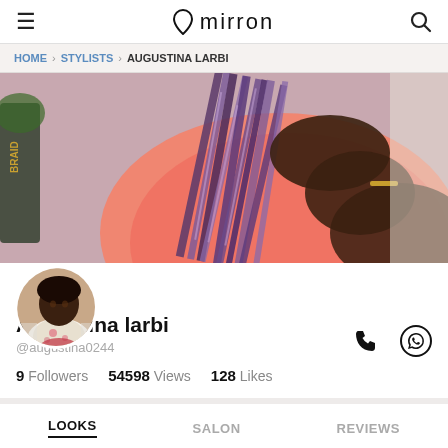mirron
HOME > STYLISTS > AUGUSTINA LARBI
[Figure (photo): Banner photo showing a woman in a pink top with long purple-blue braids, photographed from behind/side angle. A salon product bottle partially visible on left.]
[Figure (photo): Circular profile avatar of Augustina larbi, a woman in a floral top, seated.]
Augustina larbi
@augustina0244
9 Followers   54598 Views   128 Likes
LOOKS   SALON   REVIEWS